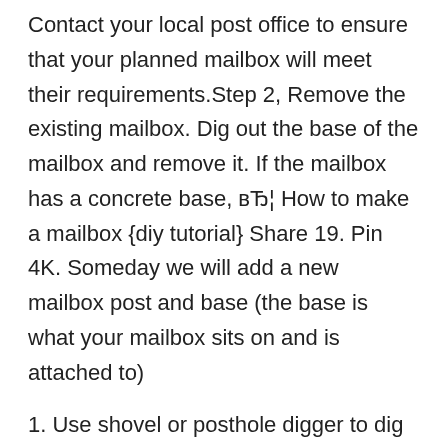Contact your local post office to ensure that your planned mailbox will meet their requirements.Step 2, Remove the existing mailbox. Dig out the base of the mailbox and remove it. If the mailbox has a concrete base, вЂ¦ How to make a mailbox {diy tutorial} Share 19. Pin 4K. Someday we will add a new mailbox post and base (the base is what your mailbox sits on and is attached to)
1. Use shovel or posthole digger to dig a hole for the mailbox post; place dirt onto a tarp. 2. Keep in mind that bottom of mailbox must be 41 to 45 inches above street, and front of mailbox must be no more than 8 inches from curb. 3. Set mailbox post in hole and use a post level to hold it perfectly plumb. 4. Mailbox Post Kit. Home Improvement. Doors and Gates. Product - Ktaxon Post-Mount Mailbox, Large Size Red Galvanized Steel Outdoor Mail Box, Rural Styel,